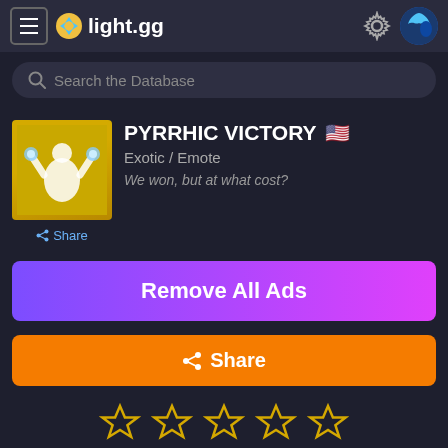light.gg
Search the Database
PYRRHIC VICTORY
Exotic / Emote
We won, but at what cost?
Share
Remove All Ads
Share
[Figure (illustration): Five empty star rating icons in a row]